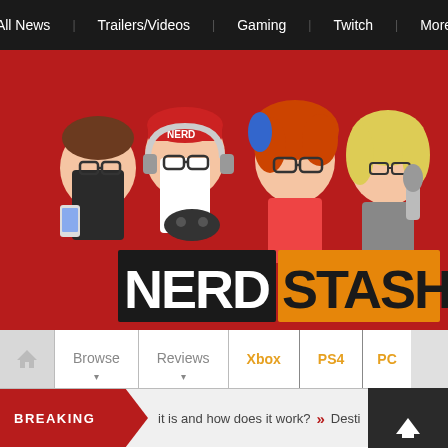All News | Trailers/Videos | Gaming | Twitch | More
[Figure (logo): Nerd Stash website logo with four cartoon characters holding gaming devices, phones, and microphones above the NERD STASH text logo on a red background]
Home | Browse | Reviews | Xbox | PS4 | PC
BREAKING  it is and how does it work? » Desti...
Destiny 2: The Best 'The Comed...